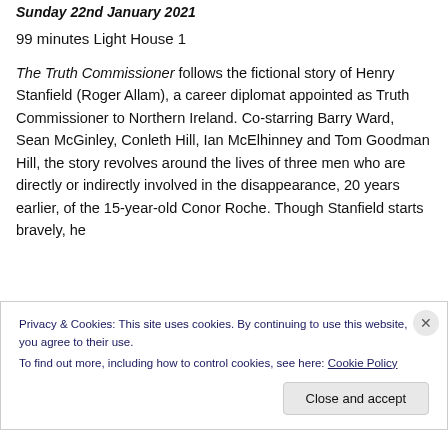Sunday 22nd January 2021
99 minutes Light House 1
The Truth Commissioner follows the fictional story of Henry Stanfield (Roger Allam), a career diplomat appointed as Truth Commissioner to Northern Ireland. Co-starring Barry Ward, Sean McGinley, Conleth Hill, Ian McElhinney and Tom Goodman Hill, the story revolves around the lives of three men who are directly or indirectly involved in the disappearance, 20 years earlier, of the 15-year-old Conor Roche. Though Stanfield starts bravely, he
Privacy & Cookies: This site uses cookies. By continuing to use this website, you agree to their use.
To find out more, including how to control cookies, see here: Cookie Policy